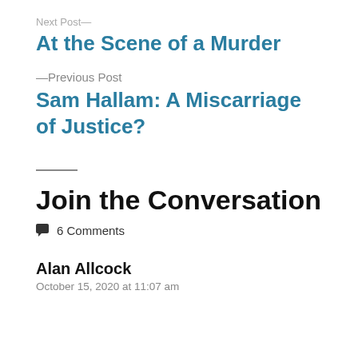Next Post—
At the Scene of a Murder
—Previous Post
Sam Hallam: A Miscarriage of Justice?
Join the Conversation
6 Comments
Alan Allcock
October 15, 2020 at 11:07 am